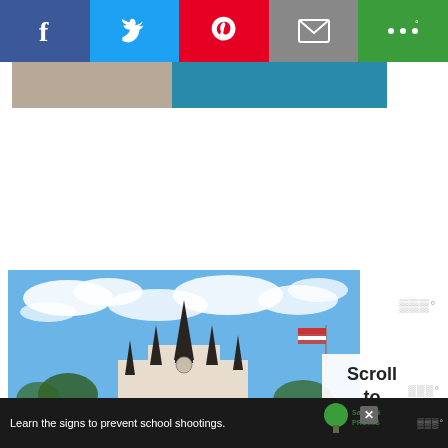[Figure (infographic): Social media share bar with Facebook (blue), Twitter (cyan), Pinterest (red), Email (grey), and More (green) buttons with white icons]
[Figure (photo): Partial cropped photo strip showing partial image with blue header element]
[Figure (photo): Photograph of St. Louis Cathedral in New Orleans Jackson Square with dark spires against a blue cloudy sky and an American flag]
Scroll to top
Learn the signs to prevent school shootings.
[Figure (logo): Sandy Hook Promise logo - green tree with text Sandy Hook Promise]